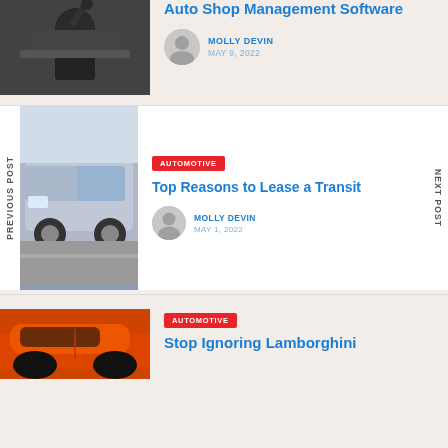[Figure (photo): Photo of a mechanic working under a car hood, dark/industrial setting]
Auto Shop Management Software
MOLLY DEVIN
MAY 9, 2022
PREVIOUS POST
[Figure (photo): Photo of a silver Ford Transit van on a road]
AUTOMOTIVE
Top Reasons to Lease a Transit
MOLLY DEVIN
MAY 1, 2022
NEXT POST
AUTOMOTIVE
[Figure (photo): Partial photo of an orange/red sports car, likely a Lamborghini]
Stop Ignoring Lamborghini